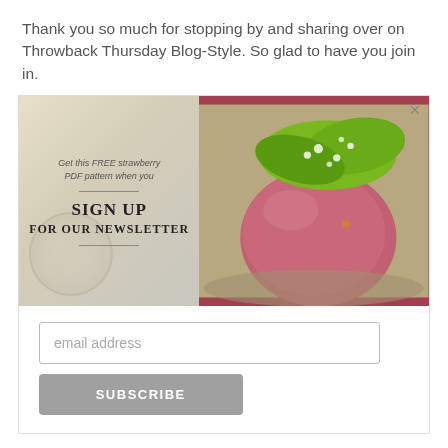Thank you so much for stopping by and sharing over on Throwback Thursday Blog-Style. So glad to have you join in.
[Figure (screenshot): Newsletter sign-up modal with illustrated left half showing text 'Get this FREE strawberry PDF pattern when you SIGN UP FOR OUR NEWSLETTER' and right half showing a photo of a pink strawberry pin cushion with green fabric leaves, plus an email input field and SUBSCRIBE button below.]